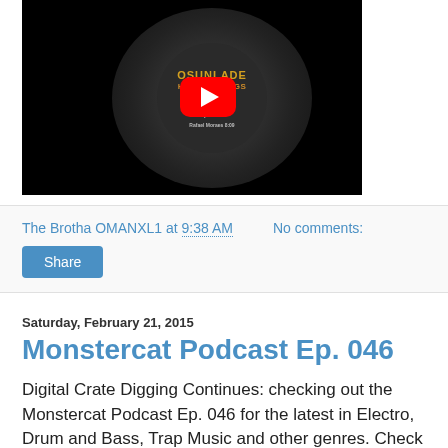[Figure (screenshot): YouTube video thumbnail showing a vinyl record with 'OSUNLADE HUMAN BEINGS' text and a red YouTube play button overlay on a black background]
The Brotha OMANXL1 at 9:38 AM   No comments:
Share
Saturday, February 21, 2015
Monstercat Podcast Ep. 046
Digital Crate Digging Continues: checking out the Monstercat Podcast Ep. 046 for the latest in Electro, Drum and Bass, Trap Music and other genres. Check out the playlist and the mix...